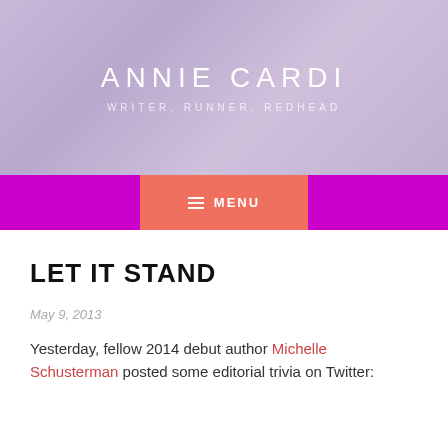ANNIE CARDI
WRITER, RUNNER, REDHEAD
[Figure (other): Navigation bar with magenta background and salmon/coral MENU button with hamburger icon]
LET IT STAND
May 9, 2013
Yesterday, fellow 2014 debut author Michelle Schusterman posted some editorial trivia on Twitter: